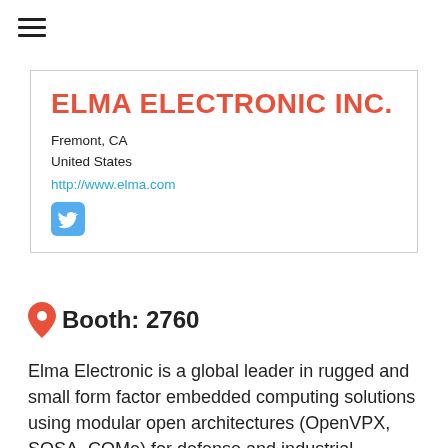ELMA ELECTRONIC INC.
Fremont, CA
United States
http://www.elma.com
[Figure (logo): Twitter bird icon in a rounded blue square]
Booth: 2760
Elma Electronic is a global leader in rugged and small form factor embedded computing solutions using modular open architectures (OpenVPX, SOSA, COMe) for defense and industrial